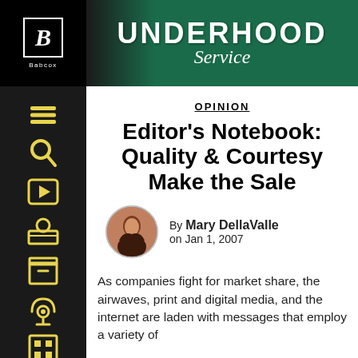UNDERHOOD Service — Babcox
[Figure (illustration): Navigation sidebar with yellow icons on black background: hamburger menu, search (magnifying glass), video play button, profile/person icon, archive/box icon, podcast/broadcast icon, grid/news icon]
OPINION
Editor's Notebook: Quality & Courtesy Make the Sale
By Mary DellaValle on Jan 1, 2007
As companies fight for market share, the airwaves, print and digital media, and the internet are laden with messages that employ a variety of